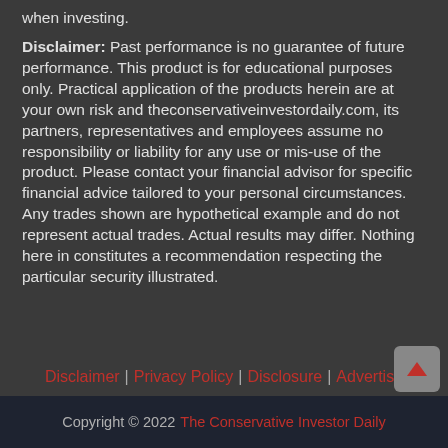when investing.
Disclaimer: Past performance is no guarantee of future performance. This product is for educational purposes only. Practical application of the products herein are at your own risk and theconservativeinvestordaily.com, its partners, representatives and employees assume no responsibility or liability for any use or mis-use of the product. Please contact your financial advisor for specific financial advice tailored to your personal circumstances. Any trades shown are hypothetical example and do not represent actual trades. Actual results may differ. Nothing here in constitutes a recommendation respecting the particular security illustrated.
Disclaimer | Privacy Policy | Disclosure | Advertise
Copyright © 2022 The Conservative Investor Daily